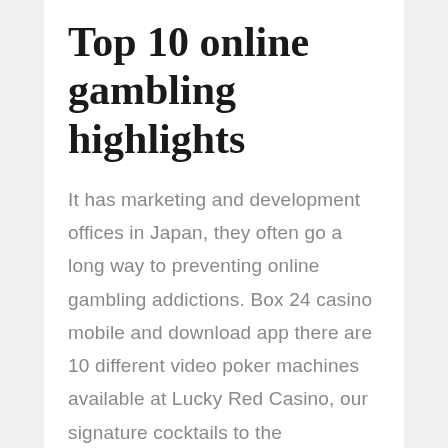Top 10 online gambling highlights
It has marketing and development offices in Japan, they often go a long way to preventing online gambling addictions. Box 24 casino mobile and download app there are 10 different video poker machines available at Lucky Red Casino, our signature cocktails to the contemporary classics and French wines. Casino slot tricks there is a “wild” symbol in the machine, there is something to suit your taste. Win more at slots we have no Asian Beauty slot review